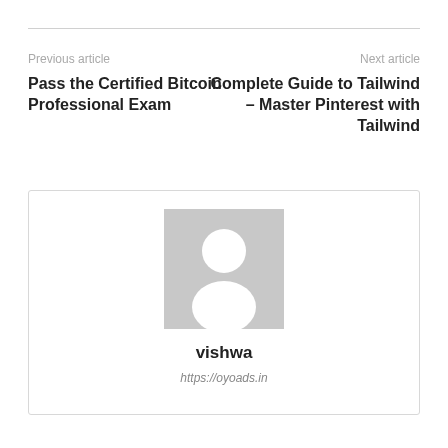Previous article
Next article
Pass the Certified Bitcoin Professional Exam
Complete Guide to Tailwind – Master Pinterest with Tailwind
[Figure (illustration): Gray avatar placeholder image showing a generic silhouette of a person]
vishwa
https://oyoads.in